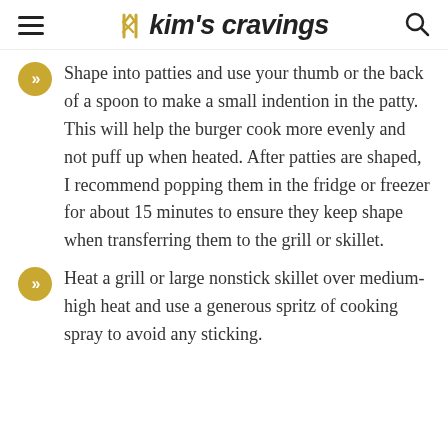kim's cravings
Shape into patties and use your thumb or the back of a spoon to make a small indention in the patty. This will help the burger cook more evenly and not puff up when heated. After patties are shaped, I recommend popping them in the fridge or freezer for about 15 minutes to ensure they keep shape when transferring them to the grill or skillet.
Heat a grill or large nonstick skillet over medium-high heat and use a generous spritz of cooking spray to avoid any sticking.